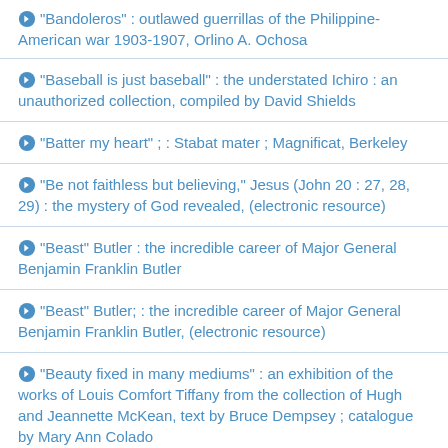"Bandoleros" : outlawed guerrillas of the Philippine-American war 1903-1907, Orlino A. Ochosa
"Baseball is just baseball" : the understated Ichiro : an unauthorized collection, compiled by David Shields
"Batter my heart" ; : Stabat mater ; Magnificat, Berkeley
"Be not faithless but believing," Jesus (John 20 : 27, 28, 29) : the mystery of God revealed, (electronic resource)
"Beast" Butler : the incredible career of Major General Benjamin Franklin Butler
"Beast" Butler; : the incredible career of Major General Benjamin Franklin Butler, (electronic resource)
"Beauty fixed in many mediums" : an exhibition of the works of Louis Comfort Tiffany from the collection of Hugh and Jeannette McKean, text by Bruce Dempsey ; catalogue by Mary Ann Colado